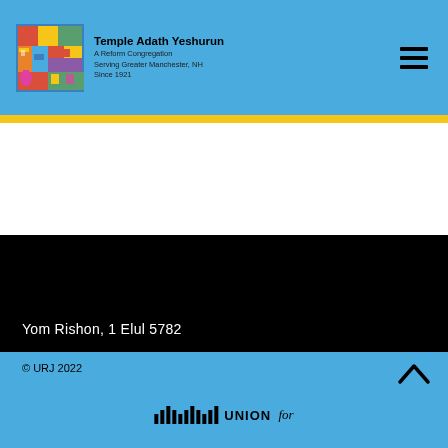Temple Adath Yeshurun
A Reform Congregation
Serving Greater Manchester, NH
Since 1921
Yom Rishon, 1 Elul 5782
© URJ 2022
[Figure (logo): URJ Union for Reform Judaism logo with vertical bars and text]
[Figure (logo): Temple Adath Yeshurun colorful abstract logo]